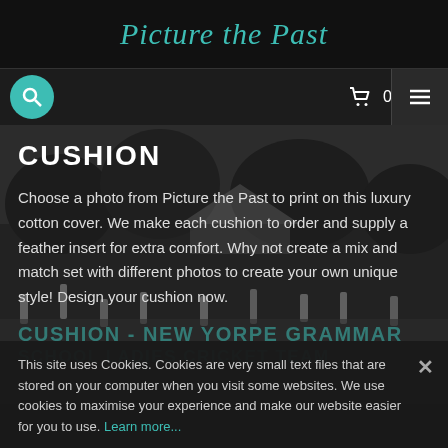Picture the Past
[Figure (screenshot): Navigation bar with teal search icon circle, shopping cart icon with '0', and hamburger menu icon]
[Figure (photo): Black and white vintage photograph of a cricket match or outdoor event with people in white, trees in background, used as page background]
CUSHION
Choose a photo from Picture the Past to print on this luxury cotton cover. We make each cushion to order and supply a feather insert for extra comfort. Why not create a mix and match set with different photos to create your own unique style! Design your cushion now.
CUSHION - NEW YORPE GRAMMAR SCHOOL LADIES CRICKET TEAM
This site uses Cookies. Cookies are very small text files that are stored on your computer when you visit some websites. We use cookies to maximise your experience and make our website easier for you to use. Learn more...